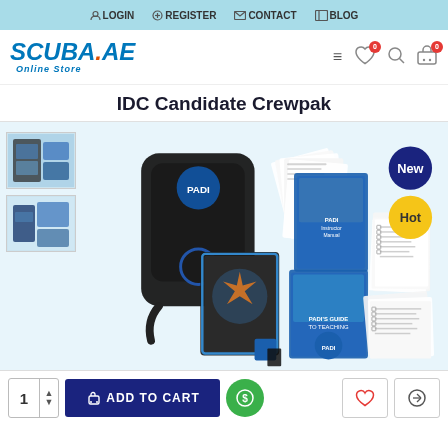LOGIN | REGISTER | CONTACT | BLOG
[Figure (logo): SCUBA.AE Online Store logo in blue with wave design]
IDC Candidate Crewpak
[Figure (photo): IDC Candidate Crewpak product image showing a black PADI backpack surrounded by various instructional materials, books, workbooks, forms, and teaching guides spread out around it. Two product thumbnail images on the left. 'New' and 'Hot' badges in the top right corner.]
ADD TO CART